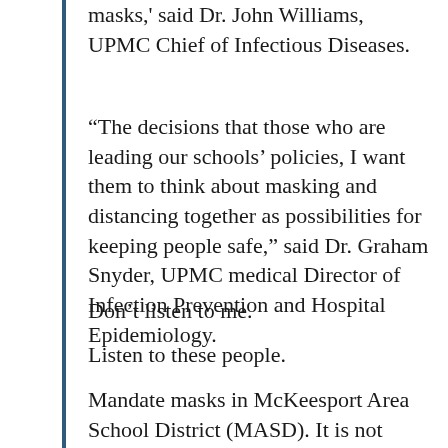masks,' said Dr. John Williams, UPMC Chief of Infectious Diseases.
“The decisions that those who are leading our schools’ policies, I want them to think about masking and distancing together as possibilities for keeping people safe,” said Dr. Graham Snyder, UPMC medical Director of Infection Prevention and Hospital Epidemiology.
Don’t listen to me.
Listen to these people.
Mandate masks in McKeesport Area School District (MASD). It is not